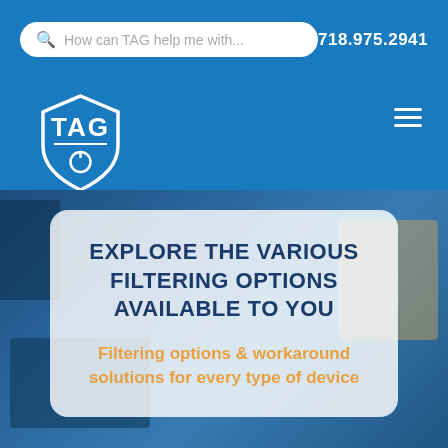How can TAG help me with...  718.975.2941
[Figure (logo): TAG shield logo in white on blue background]
[Figure (photo): Blue-tinted background photo of networking or printing equipment]
EXPLORE THE VARIOUS FILTERING OPTIONS AVAILABLE TO YOU
Filtering options & workaround solutions for every type of device